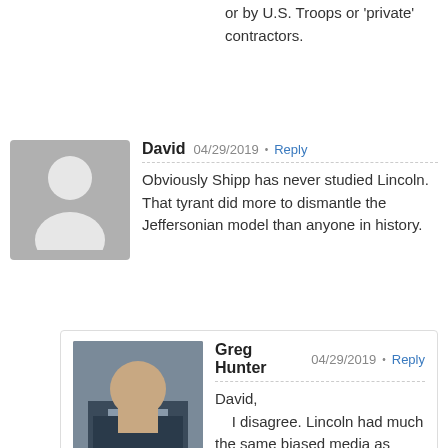or by U.S. Troops or 'private' contractors.
David 04/29/2019 · Reply
Obviously Shipp has never studied Lincoln. That tyrant did more to dismantle the Jeffersonian model than anyone in history.
Greg Hunter 04/29/2019 · Reply
David,
I disagree. Lincoln had much the same biased media as Trump has today. The Democrats wanted slavery. Lincoln was shot by an actor (Democrat) who made $25,000 per year. What would that be in $20 gold pieces today???? The country was splitting apart and Lincoln kept it together. This had little to do with the Jeffersonian model surviving but the survival of the republic